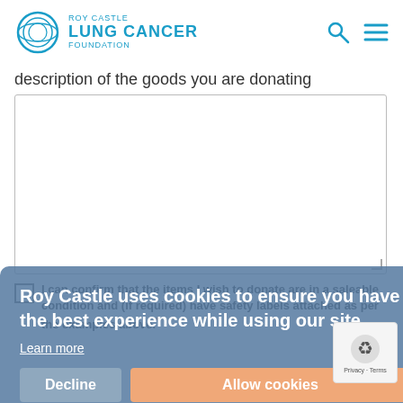[Figure (logo): Roy Castle Lung Cancer Foundation logo with circular icon and text]
description of the goods you are donating
I can confirm that the items I wish to donate are in a saleable condition and (if required) have safety labels attached as per the examples above.*
Roy Castle uses cookies to ensure you have the best experience while using our site.
Learn more
Decline
Allow cookies